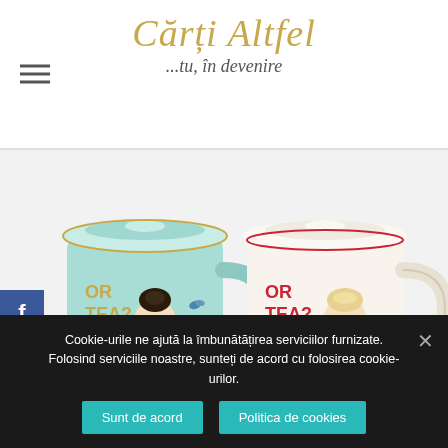Cărți Altfel ...tu, în devenire
[Figure (photo): Two Or Tea? branded ceramic mugs with illustrated girl designs. Left mug is mint/teal green with dark-haired girl and gold 'OR TEA?' text. Right mug is white/cream with blonde girl and red 'OR TEA?' text. Both mugs have lids and feature whimsical illustrated characters.]
Cookie-urile ne ajută la îmbunătățirea serviciilor furnizate. Folosind serviciile noastre, sunteți de acord cu folosirea cookie-urilor.
Sunt de acord
Politica de cookies